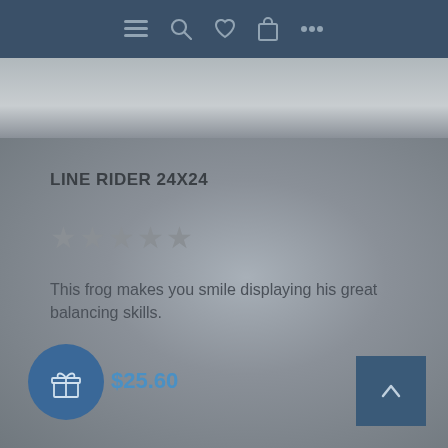Navigation bar with menu, search, heart, bag, and more icons
[Figure (photo): Product image placeholder strip, light grey gradient background]
LINE RIDER 24X24
★★★★★ (empty stars, rating)
This frog makes you smile displaying his great balancing skills.
$63.99  $25.60
[Figure (illustration): Gift icon button, circular blue button at bottom left]
[Figure (illustration): Back to top arrow button, square blue button at bottom right]